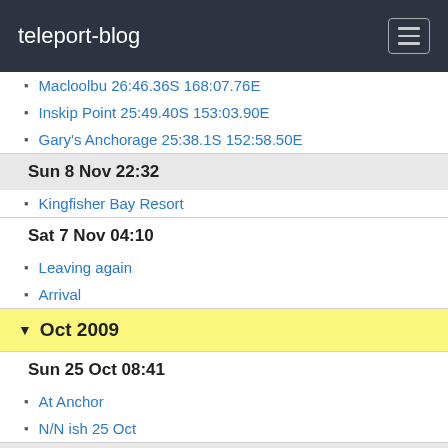teleport-blog
Macloolbu 26:46.36S 168:07.76E
Inskip Point 25:49.40S 153:03.90E
Gary's Anchorage 25:38.1S 152:58.50E
Sun 8 Nov 22:32
Kingfisher Bay Resort
Sat 7 Nov 04:10
Leaving again
Arrival
Oct 2009
Sun 25 Oct 08:41
At Anchor
N/N ish 25 Oct
Sat 24 Oct 06:40
N/N 24 Oct
Fri 23 Oct 05:27
N/N 23 oct